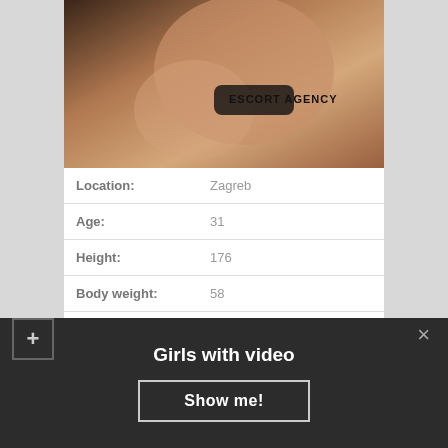[Figure (photo): Close-up photo with text overlay reading ESCORT AGENCY]
| Location: | Zagreb |
| Age: | 31 |
| Height: | 176 |
| Body weight: | 58 |
| Availability: | 11:00 – 21:00 |
| NIGHT: | Extra 50 dollars |
Girls with video
Show me!